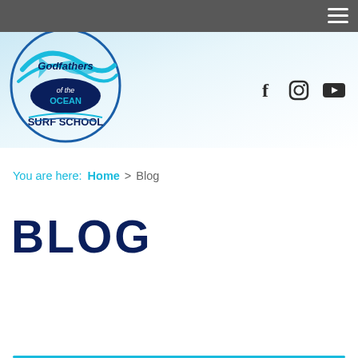[Figure (logo): Godfathers of the Ocean Surf School circular logo with blue wave and fish design]
[Figure (infographic): Social media icons: Facebook (f), Instagram (circle), YouTube (play button) in dark color]
You are here: Home > Blog
BLOG